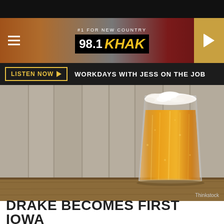[Figure (screenshot): 98.1 KHAK radio station website header with logo, hamburger menu, and play button on dark background with country music imagery]
LISTEN NOW ▶  WORKDAYS WITH JESS ON THE JOB
[Figure (photo): A full pint glass of golden amber beer with white foam head on a wooden surface against a wooden plank background. Thinkstock photo credit.]
DRAKE BECOMES FIRST IOWA